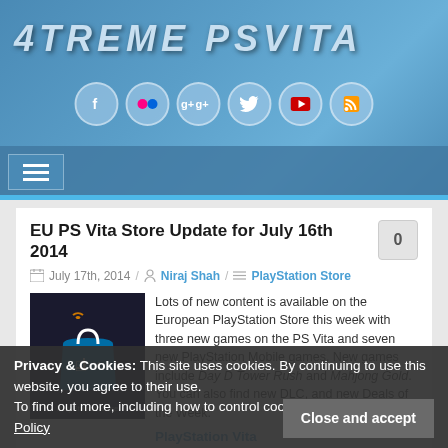4TREME PSVITA
[Figure (screenshot): Website header with social media icons (Facebook, Flickr, Google+, Twitter, YouTube, RSS) and hamburger navigation menu on blue gradient background]
EU PS Vita Store Update for July 16th 2014
July 17th, 2014 / Niraj Shah / PlayStation Store
[Figure (photo): PlayStation Store logo with blue shopping bag icon on dark background]
Lots of new content is available on the European PlayStation Store this week with three new games on the PS Vita and seven new PlayStation Mobile games. New games include Day D Tower Rush and Mahjong Gold. You can also find new DLC, and new Deals of the Week.
PlayStation Vita
Day D Tower Rush (£3.99/€4.99/AU$7.55)
Mahjong Gold (£3.99/€4.99/AU$7.55)
Privacy & Cookies: This site uses cookies. By continuing to use this website, you agree to their use. To find out more, including how to control cookies, see here: Cookie Policy
Close and accept